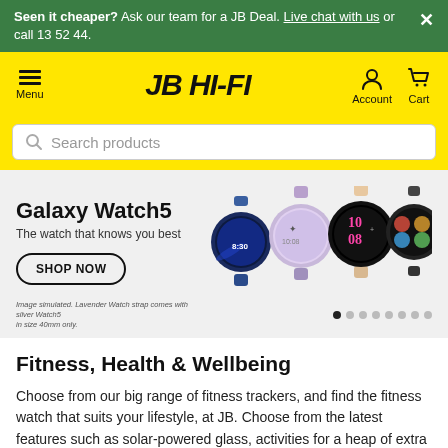Seen it cheaper? Ask our team for a JB Deal. Live chat with us or call 13 52 44.
[Figure (logo): JB HI-FI logo on yellow header bar with Menu, Account, and Cart navigation icons]
Search products
[Figure (photo): Galaxy Watch5 promotional banner showing three Samsung Galaxy Watch5 smartwatches in blue, purple/lavender, and black colorways with the text 'Galaxy Watch5 - The watch that knows you best' and a SHOP NOW button. Image simulated. Lavender Watch strap comes with silver Watch5 in size 40mm only.]
Fitness, Health & Wellbeing
Choose from our big range of fitness trackers, and find the fitness watch that suits your lifestyle, at JB. Choose from the latest features such as solar-powered glass, activities for a heap of extra sports, and widgets to help measure your sleep and stress levels. Find one to fits your style.